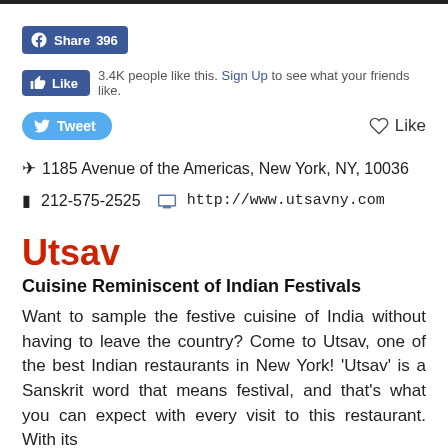[Figure (screenshot): Facebook Share button showing count 396]
[Figure (screenshot): Facebook Like button with text: 3.4K people like this. Sign Up to see what your friends like.]
[Figure (screenshot): Twitter Tweet button on left and heart Like button on right]
1185 Avenue of the Americas, New York, NY, 10036
212-575-2525   http://www.utsavny.com
Utsav
Cuisine Reminiscent of Indian Festivals
Want to sample the festive cuisine of India without having to leave the country? Come to Utsav, one of the best Indian restaurants in New York! 'Utsav' is a Sanskrit word that means festival, and that's what you can expect with every visit to this restaurant. With its